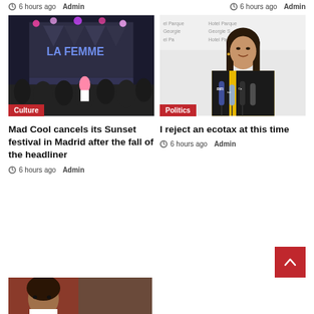6 hours ago Admin  |  6 hours ago Admin
[Figure (photo): Concert stage at night with crowd, 'LA FEMME' text on stage, Culture badge]
[Figure (photo): Woman speaking at press conference with microphones, Politics badge]
Mad Cool cancels its Sunset festival in Madrid after the fall of the headliner
6 hours ago Admin
I reject an ecotax at this time
6 hours ago Admin
[Figure (photo): Partial bottom image showing a person]